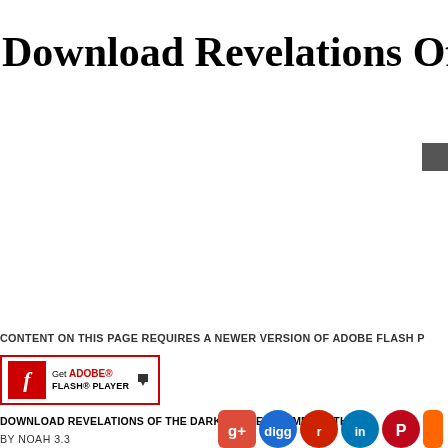Download Revelations Of The Da
[Figure (screenshot): Dark/grey button or UI element in upper right area]
CONTENT ON THIS PAGE REQUIRES A NEWER VERSION OF ADOBE FLASH P
[Figure (logo): Get Adobe Flash Player badge/button with red Flash icon]
DOWNLOAD REVELATIONS OF THE DARK MOTHER (VAMPIRE: TH
BY NOAH 3.3
[Figure (infographic): Row of social media sharing icons: Google+, Digg, Reddit, LinkedIn, Pinterest, and others]